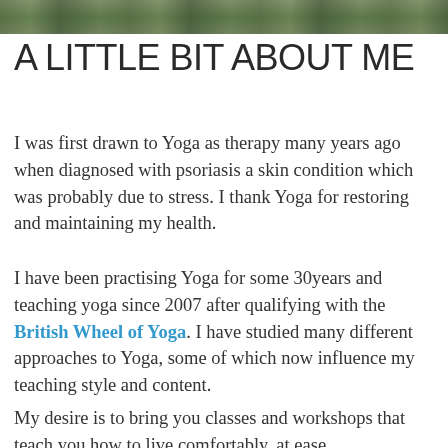[Figure (photo): A partial cropped photo strip at the top of the page, showing an outdoor nature scene with greenery/rocks.]
A LITTLE BIT ABOUT ME
I was first drawn to Yoga as therapy many years ago when diagnosed with psoriasis a skin condition which was probably due to stress. I thank Yoga for restoring and maintaining my health.
I have been practising Yoga for some 30years and teaching yoga since 2007 after qualifying with the British Wheel of Yoga. I have studied many different approaches to Yoga, some of which now influence my teaching style and content.
My desire is to bring you classes and workshops that teach you how to live comfortably, at ease